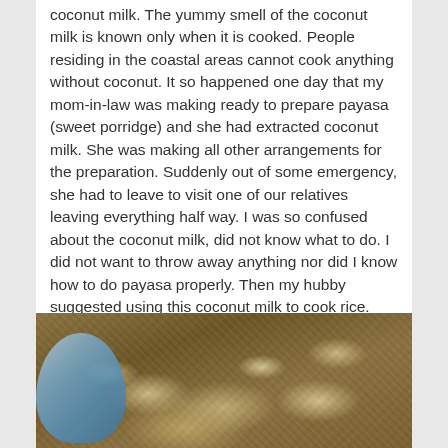coconut milk. The yummy smell of the coconut milk is known only when it is cooked. People residing in the coastal areas cannot cook anything without coconut. It so happened one day that my mom-in-law was making ready to prepare payasa (sweet porridge) and she had extracted coconut milk. She was making all other arrangements for the preparation. Suddenly out of some emergency, she had to leave to visit one of our relatives leaving everything half way. I was so confused about the coconut milk, did not know what to do. I did not want to throw away anything nor did I know how to do payasa properly. Then my hubby suggested using this coconut milk to cook rice. And to it I added all the spices randomly. And the rice turned out to be full of aroma. I named it coconut-milk rice. Thus coconut-milk rice was invented accidentally.
[Figure (photo): Close-up photograph of coconut-milk rice served on a plate, with a blue spoon visible on the left side. The rice appears fluffy and aromatic with spices mixed in.]